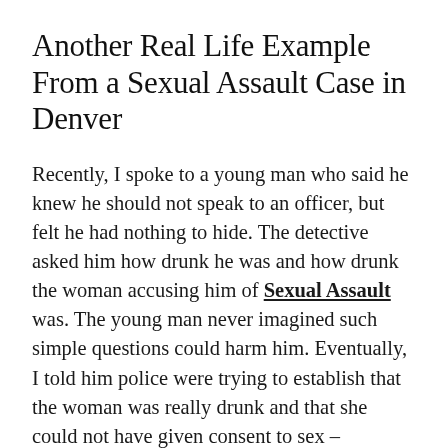Another Real Life Example From a Sexual Assault Case in Denver
Recently, I spoke to a young man who said he knew he should not speak to an officer, but felt he had nothing to hide. The detective asked him how drunk he was and how drunk the woman accusing him of Sexual Assault was. The young man never imagined such simple questions could harm him. Eventually, I told him police were trying to establish that the woman was really drunk and that she could not have given consent to sex – particularly when he was not as drunk as she was. He greatly helped